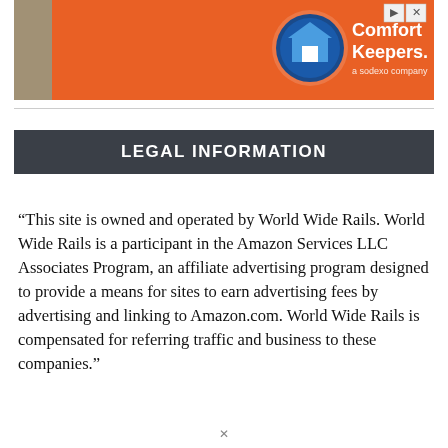[Figure (screenshot): Advertisement banner for Comfort Keepers with orange background and logo]
LEGAL INFORMATION
“This site is owned and operated by World Wide Rails. World Wide Rails is a participant in the Amazon Services LLC Associates Program, an affiliate advertising program designed to provide a means for sites to earn advertising fees by advertising and linking to Amazon.com. World Wide Rails is compensated for referring traffic and business to these companies.”